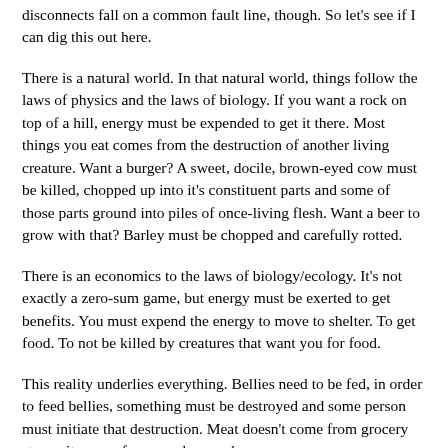disconnects fall on a common fault line, though. So let's see if I can dig this out here.
There is a natural world. In that natural world, things follow the laws of physics and the laws of biology. If you want a rock on top of a hill, energy must be expended to get it there. Most things you eat comes from the destruction of another living creature. Want a burger? A sweet, docile, brown-eyed cow must be killed, chopped up into it's constituent parts and some of those parts ground into piles of once-living flesh. Want a beer to grow with that? Barley must be chopped and carefully rotted.
There is an economics to the laws of biology/ecology. It's not exactly a zero-sum game, but energy must be exerted to get benefits. You must expend the energy to move to shelter. To get food. To not be killed by creatures that want you for food.
This reality underlies everything. Bellies need to be fed, in order to feed bellies, something must be destroyed and some person must initiate that destruction. Meat doesn't come from grocery stores, it comes from ranchers and